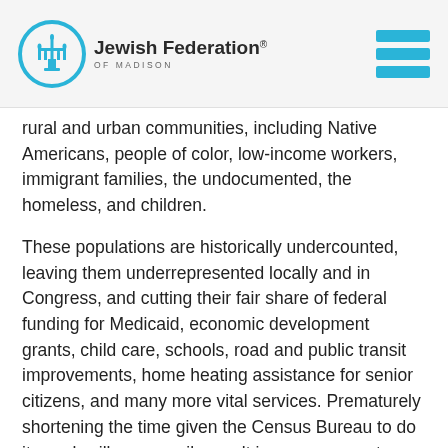Jewish Federation® OF MADISON
rural and urban communities, including Native Americans, people of color, low-income workers, immigrant families, the undocumented, the homeless, and children.
These populations are historically undercounted, leaving them underrepresented locally and in Congress, and cutting their fair share of federal funding for Medicaid, economic development grants, child care, schools, road and public transit improvements, home heating assistance for senior citizens, and many more vital services. Prematurely shortening the time given the Census Bureau to do its work will necessarily result in an even greater undercount than we have seen before.
According to the United States Constitution, the purpose of the Census is two-fold: 1) to determine how many seats each state has in the House of Representatives, and 2) to determine how to